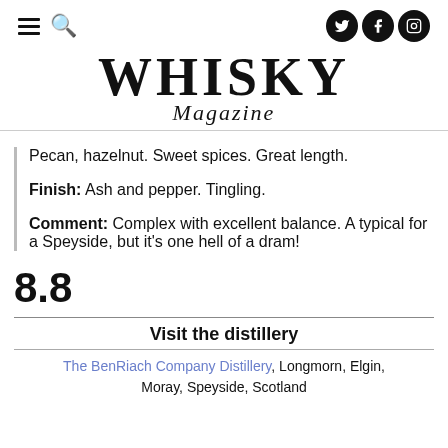WHISKY Magazine
Pecan, hazelnut. Sweet spices. Great length.
Finish: Ash and pepper. Tingling.
Comment: Complex with excellent balance. A typical for a Speyside, but it's one hell of a dram!
8.8
Visit the distillery
The BenRiach Company Distillery, Longmorn, Elgin, Moray, Speyside, Scotland